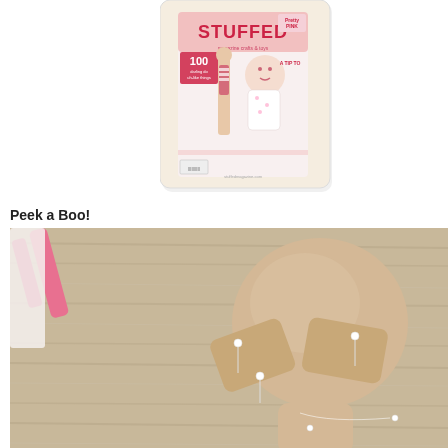[Figure (photo): A copy of STUFFED magazine lying on a light surface. The magazine cover is pink and white with red text reading 'STUFFED' and features stuffed animal dolls and crafts. Text on cover includes '100' and 'A TIP TO'. The magazine has a rounded-corner border around the photo.]
Peek a Boo!
[Figure (photo): A close-up photo of a handmade stuffed doll (peek-a-boo doll) lying on a wood-grain surface. The doll has a round beige/tan fabric head and felt hands covering its face, held in place with pins. A pink tool (possibly scissors or clamp) is visible in the upper left. White threads and pins are visible around the doll's hands.]